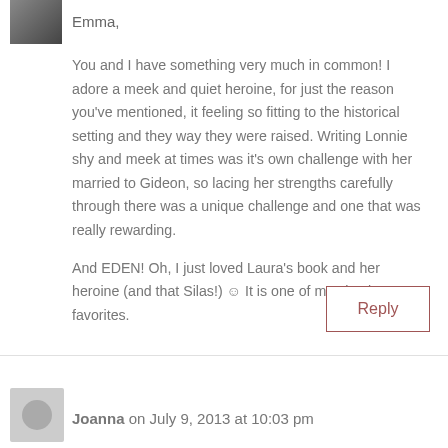[Figure (photo): Small avatar photo of commenter at top]
Emma,
You and I have something very much in common! I adore a meek and quiet heroine, for just the reason you’ve mentioned, it feeling so fitting to the historical setting and they way they were raised. Writing Lonnie shy and meek at times was it’s own challenge with her married to Gideon, so lacing her strengths carefully through there was a unique challenge and one that was really rewarding.
And EDEN! Oh, I just loved Laura’s book and her heroine (and that Silas!) ☺ It is one of my absolute favorites.
Reply
Joanna on July 9, 2013 at 10:03 pm
[Figure (photo): Gray placeholder avatar for Joanna]